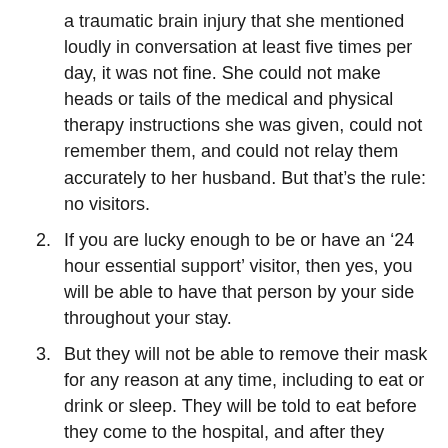a traumatic brain injury that she mentioned loudly in conversation at least five times per day, it was not fine. She could not make heads or tails of the medical and physical therapy instructions she was given, could not remember them, and could not relay them accurately to her husband. But that's the rule: no visitors.
2. If you are lucky enough to be or have an ‘24 hour essential support’ visitor, then yes, you will be able to have that person by your side throughout your stay.
3. But they will not be able to remove their mask for any reason at any time, including to eat or drink or sleep. They will be told to eat before they come to the hospital, and after they leave. Which is an interesting trick if you’re there for 24 hours or more.
4. The family/visitor lounges are closed. Essential care supporters will be ‘sleeping’ in upright chairs in the